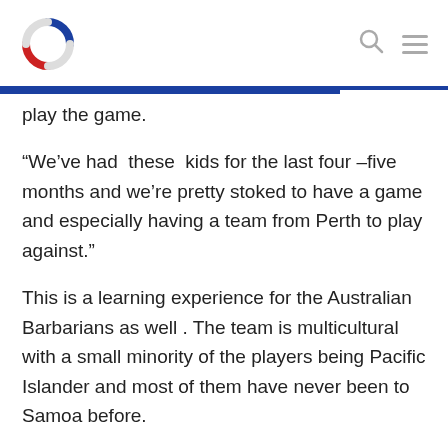[Figure (logo): Circular logo with blue top arc and red bottom arc, white center]
play the game.
“We’ve had  these  kids for the last four –five months and we’re pretty stoked to have a game and especially having a team from Perth to play against.”
This is a learning experience for the Australian Barbarians as well . The team is multicultural with a small minority of the players being Pacific Islander and most of them have never been to Samoa before.